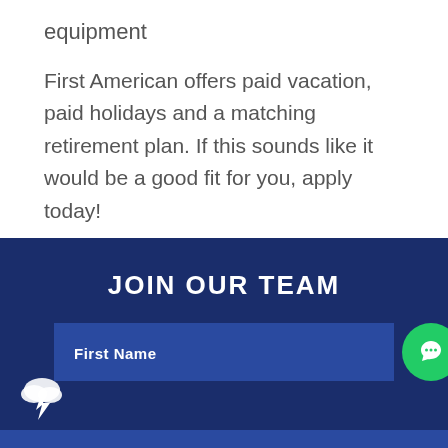equipment
First American offers paid vacation, paid holidays and a matching retirement plan. If this sounds like it would be a good fit for you, apply today!
[Figure (screenshot): Dark blue 'Join Our Team' recruitment form section with a text input labeled 'First Name', a green circular chat button, and a cloud/lightning bolt icon on the left side.]